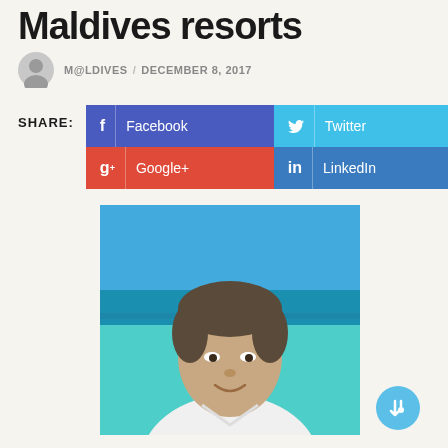Maldives resorts
M@LDIVES / DECEMBER 8, 2017
[Figure (infographic): Social share buttons: Facebook, Twitter, Google+, LinkedIn]
[Figure (photo): Portrait photo of a man outdoors with turquoise ocean and blue sky in background]